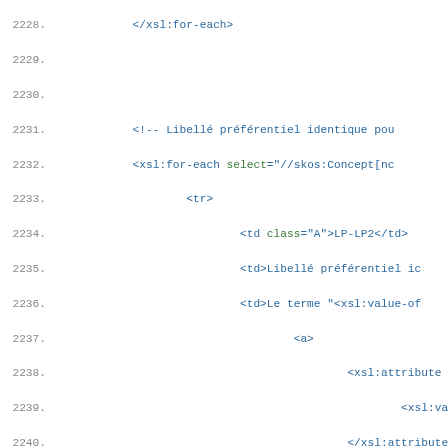[Figure (screenshot): Source code listing showing XSL/XML code with line numbers 2228-2254, displayed in a monospace font with syntax highlighting. Blue text for XSL tags and attributes, green for attribute names, black for text content.]